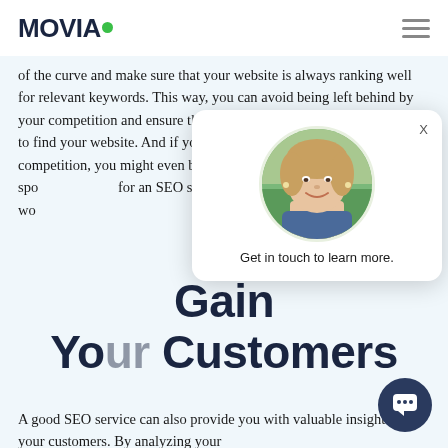MOVIA
of the curve and make sure that your website is always ranking well for relevant keywords. This way, you can avoid being left behind by your competition and ensure that potential customers are always able to find your website. And if you can stay ahead on your competition, you might even be able to take over the top spots. So if you're looking for an SEO service that can help you achieve this, don't have to wo
[Figure (photo): Chat popup with circular photo of a smiling woman and text 'Get in touch to learn more.']
Gain Insights Into Your Customers
A good SEO service can also provide you with valuable insights into your customers. By analyzing your